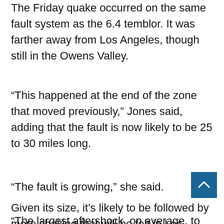The Friday quake occurred on the same fault system as the 6.4 temblor. It was farther away from Los Angeles, though still in the Owens Valley.
“This happened at the end of the zone that moved previously,” Jones said, adding that the fault is now likely to be 25 to 30 miles long.
“The fault is growing,” she said.
Given its size, it’s likely to be followed by more shaking that will be felt in Los Angeles.
“The largest aftershock, on average, to a… would be a magnitude 6,” Jones said. That